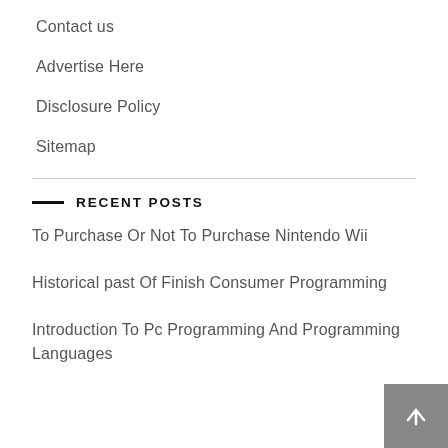Contact us
Advertise Here
Disclosure Policy
Sitemap
RECENT POSTS
To Purchase Or Not To Purchase Nintendo Wii
Historical past Of Finish Consumer Programming
Introduction To Pc Programming And Programming Languages